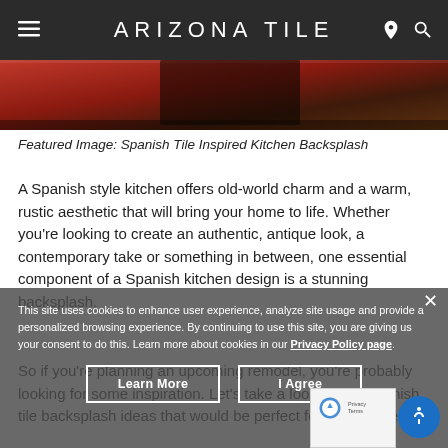ARIZONA TILE
[Figure (photo): Partial image of a Spanish tile inspired kitchen backsplash, showing reddish-brown tiles at the top of the page]
Featured Image: Spanish Tile Inspired Kitchen Backsplash
A Spanish style kitchen offers old-world charm and a warm, rustic aesthetic that will bring your home to life. Whether you're looking to create an authentic, antique look, a contemporary take or something in between, one essential component of a Spanish kitchen design is a stunning backsplash.
So if you're planning an upcoming remodel, you're probably looking for some inspiration. Let's take a look at five Spanish tile backsplash ideas that would be perfect for your kitchen.
This site uses cookies to enhance user experience, analyze site usage and provide a personalized browsing experience. By continuing to use this site, you are giving us your consent to do this. Learn more about cookies in our Privacy Policy page.